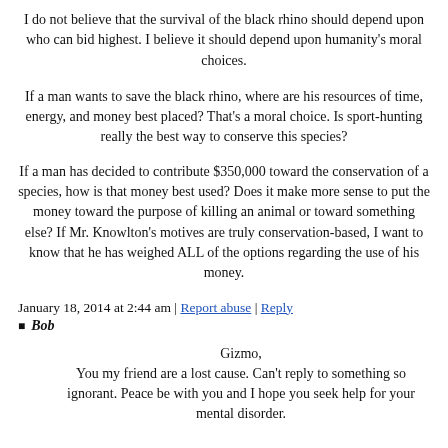I do not believe that the survival of the black rhino should depend upon who can bid highest. I believe it should depend upon humanity's moral choices.
If a man wants to save the black rhino, where are his resources of time, energy, and money best placed? That's a moral choice. Is sport-hunting really the best way to conserve this species?
If a man has decided to contribute $350,000 toward the conservation of a species, how is that money best used? Does it make more sense to put the money toward the purpose of killing an animal or toward something else? If Mr. Knowlton's motives are truly conservation-based, I want to know that he has weighed ALL of the options regarding the use of his money.
January 18, 2014 at 2:44 am | Report abuse | Reply
Bob
Gizmo,
You my friend are a lost cause. Can't reply to something so ignorant. Peace be with you and I hope you seek help for your mental disorder.